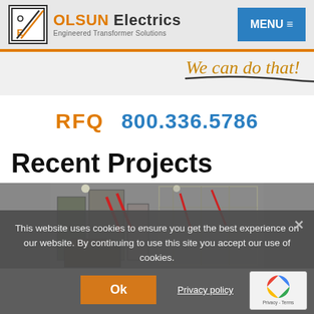[Figure (logo): OLSUN Electrics logo with O/E icon and text 'Engineered Transformer Solutions']
MENU ≡
We can do that!
RFQ   800.336.5786
Recent Projects
[Figure (photo): Industrial transformer/electrical equipment in a facility]
This website uses cookies to ensure you get the best experience on our website. By continuing to use this site you accept our use of cookies.
Ok
Privacy policy